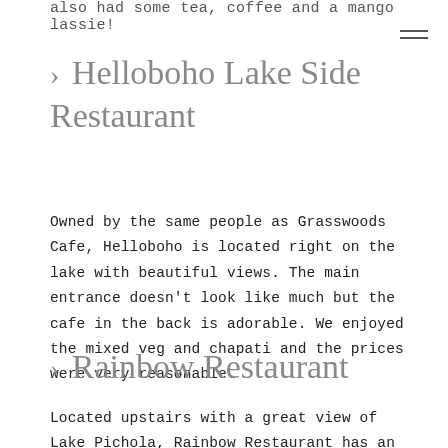also had some tea, coffee and a mango lassie!
› Helloboho Lake Side Restaurant
Owned by the same people as Grasswoods Cafe, Helloboho is located right on the lake with beautiful views. The main entrance doesn't look like much but the cafe in the back is adorable. We enjoyed the mixed veg and chapati and the prices were very reasonable.
› Rainbow Restaurant
Located upstairs with a great view of Lake Pichola, Rainbow Restaurant has an extensive menu. It is